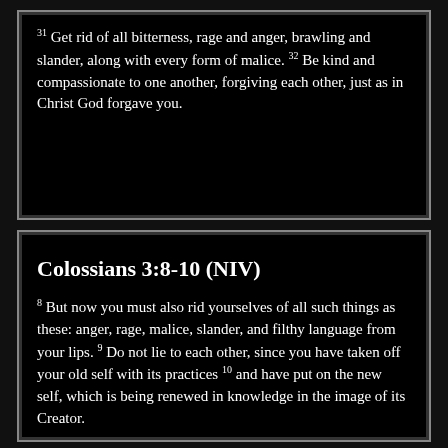31 Get rid of all bitterness, rage and anger, brawling and slander, along with every form of malice. 32 Be kind and compassionate to one another, forgiving each other, just as in Christ God forgave you.
Colossians 3:8-10 (NIV)
8 But now you must also rid yourselves of all such things as these: anger, rage, malice, slander, and filthy language from your lips. 9 Do not lie to each other, since you have taken off your old self with its practices 10 and have put on the new self, which is being renewed in knowledge in the image of its Creator.